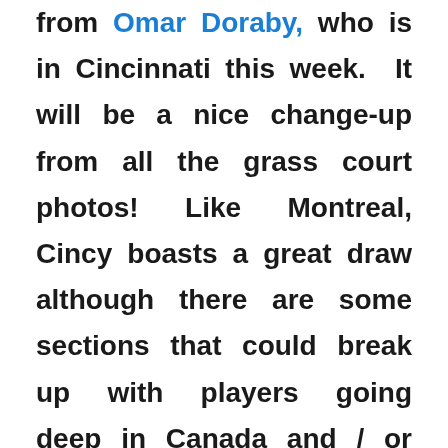from Omar Doraby, who is in Cincinnati this week.  It will be a nice change-up from all the grass court photos! Like Montreal, Cincy boasts a great draw although there are some sections that could break up with players going deep in Canada and / or having some niggly injuries.  The top